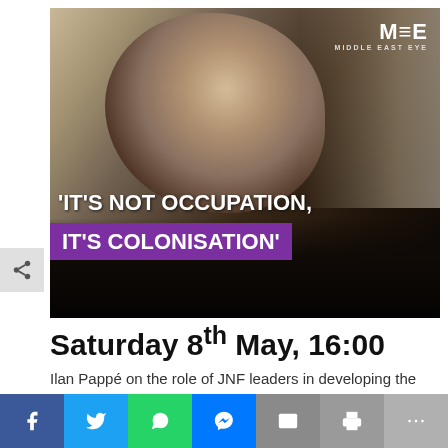[Figure (photo): Photo of Ilan Pappé, a middle-aged man with grey hair, wearing a dark top. Overlaid with quote text: 'IT'S NOT OCCUPATION, IT'S COLONISATION'. MEE (Middle East Eye) logo in top right corner. Purple highlight band behind second line of quote.]
Saturday 8th May, 16:00
Ilan Pappé on the role of JNF leaders in developing the ideology and strategy of ethnic cleansing leading up to 1948, including the military expulsion operations and thwarting the Palestinian Right of Return
[Figure (infographic): Social media sharing bar with buttons for Facebook, Twitter, WhatsApp, Messenger, Email, Print, and More (...)]